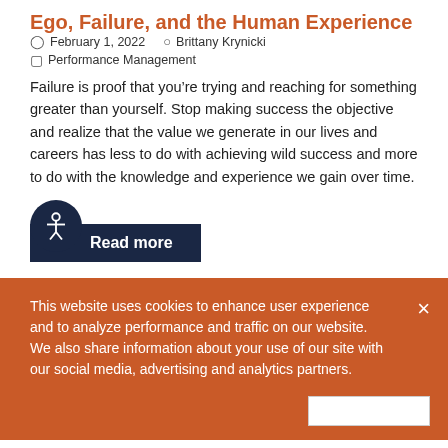Ego, Failure, and the Human Experience
February 1, 2022   Brittany Krynicki
Performance Management
Failure is proof that you’re trying and reaching for something greater than yourself. Stop making success the objective and realize that the value we generate in our lives and careers has less to do with achieving wild success and more to do with the knowledge and experience we gain over time.
Read more
This website uses cookies to enhance user experience and to analyze performance and traffic on our website. We also share information about your use of our site with our social media, advertising and analytics partners.